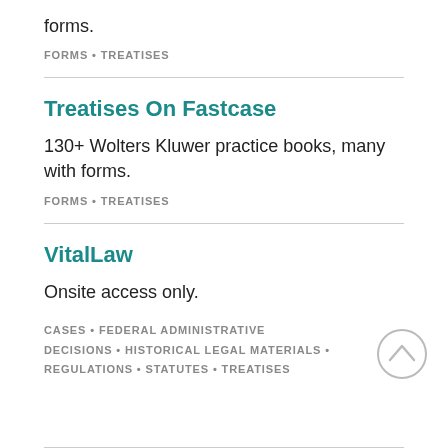forms.
FORMS • TREATISES
Treatises On Fastcase
130+ Wolters Kluwer practice books, many with forms.
FORMS • TREATISES
VitalLaw
Onsite access only.
CASES • FEDERAL ADMINISTRATIVE DECISIONS • HISTORICAL LEGAL MATERIALS • REGULATIONS • STATUTES • TREATISES